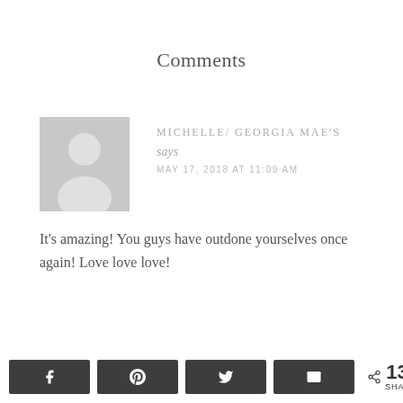Comments
[Figure (illustration): Grey placeholder avatar silhouette with head and shoulders on grey background]
MICHELLE/ GEORGIA MAE'S
says
MAY 17, 2018 AT 11:09 AM
It's amazing! You guys have outdone yourselves once again! Love love love!
[Figure (infographic): Social share bar with Facebook, Pinterest, Twitter, Email buttons and 13K SHARES count]